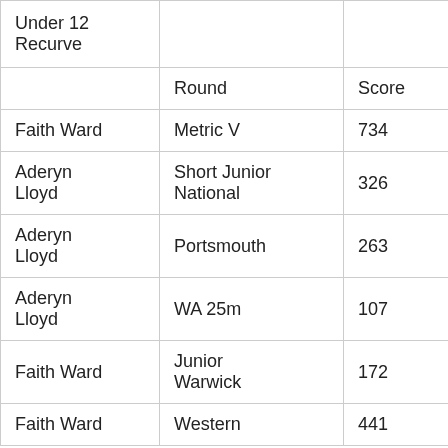|  | Round | Score | Da |
| --- | --- | --- | --- |
| Under 12 Recurve |  |  |  |
|  | Round | Score | Da |
| Faith Ward | Metric V | 734 | 30/ |
| Aderyn Lloyd | Short Junior National | 326 | 25/ |
| Aderyn Lloyd | Portsmouth | 263 | 21/ |
| Aderyn Lloyd | WA 25m | 107 | 19/ |
| Faith Ward | Junior Warwick | 172 | 14/ |
| Faith Ward | Western | 441 |  |